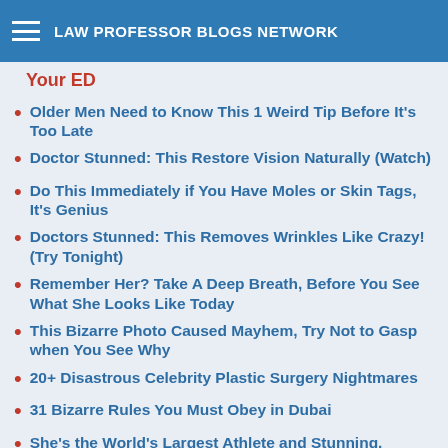LAW PROFESSOR BLOGS NETWORK
Your ED
Older Men Need to Know This 1 Weird Tip Before It's Too Late
Doctor Stunned: This Restore Vision Naturally (Watch)
Do This Immediately if You Have Moles or Skin Tags, It's Genius
Doctors Stunned: This Removes Wrinkles Like Crazy! (Try Tonight)
Remember Her? Take A Deep Breath, Before You See What She Looks Like Today
This Bizarre Photo Caused Mayhem, Try Not to Gasp when You See Why
20+ Disastrous Celebrity Plastic Surgery Nightmares
31 Bizarre Rules You Must Obey in Dubai
She's the World's Largest Athlete and Stunning.